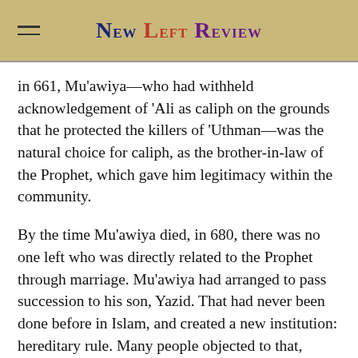New Left Review
in 661, Mu‘awiya—who had withheld acknowledgement of ‘Ali as caliph on the grounds that he protected the killers of ‘Uthman—was the natural choice for caliph, as the brother-in-law of the Prophet, which gave him legitimacy within the community.
By the time Mu‘awiya died, in 680, there was no one left who was directly related to the Prophet through marriage. Mu‘awiya had arranged to pass succession to his son, Yazid. That had never been done before in Islam, and created a new institution: hereditary rule. Many people objected to that, including